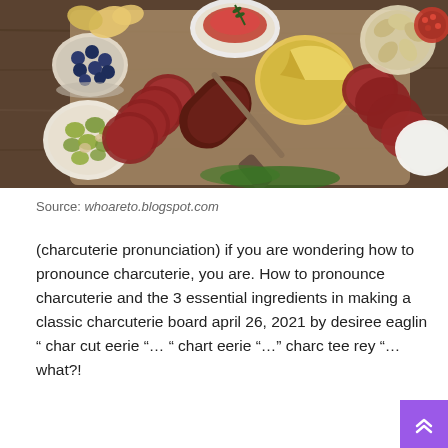[Figure (photo): Overhead view of a charcuterie board with sliced meats, cheeses, olives, blueberries, crackers, artichokes, and a knife on a wooden surface]
Source: whoareto.blogspot.com
(charcuterie pronunciation) if you are wondering how to pronounce charcuterie, you are. How to pronounce charcuterie and the 3 essential ingredients in making a classic charcuterie board april 26, 2021 by desiree eaglin “ char cut eerie “... “ chart eerie “...” charc tee rey “...what?!